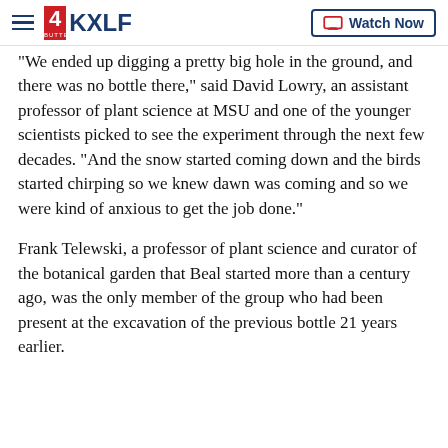4KXLF BUTTE — Watch Now
"We ended up digging a pretty big hole in the ground, and there was no bottle there," said David Lowry, an assistant professor of plant science at MSU and one of the younger scientists picked to see the experiment through the next few decades. "And the snow started coming down and the birds started chirping so we knew dawn was coming and so we were kind of anxious to get the job done."
Frank Telewski, a professor of plant science and curator of the botanical garden that Beal started more than a century ago, was the only member of the group who had been present at the excavation of the previous bottle 21 years earlier.